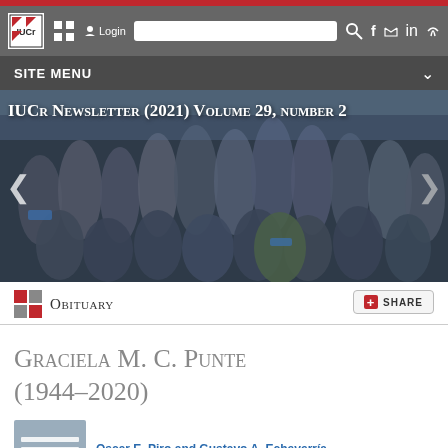IUCr Newsletter (2021) Volume 29, number 2
Obituary
Graciela M. C. Punte (1944–2020)
Oscar E. Piro and Gustavo A. Echeverría